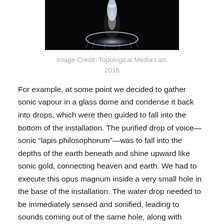[Figure (photo): Close-up photograph of a water droplet or sonic vapour drop glowing with light on a dark black background, shot from below showing a mushroom-like shape.]
Image Credit: Topological Media Lab, 2016
For example, at some point we decided to gather sonic vapour in a glass dome and condense it back into drops, which were then guided to fall into the bottom of the installation. The purified drop of voice—sonic “lapis philosophorum”—was to fall into the depths of the earth beneath and shine upward like sonic gold, connecting heaven and earth. We had to execute this opus magnum inside a very small hole in the base of the installation. The water drop needed to be immediately sensed and sonified, leading to sounds coming out of the same hole, along with